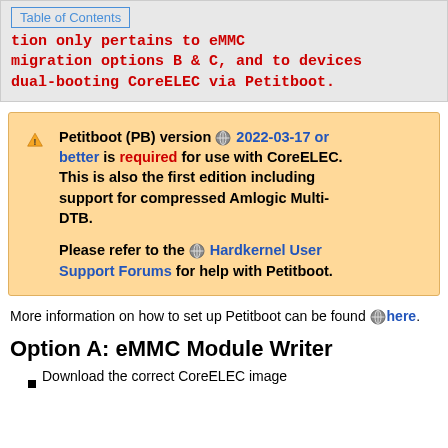Table of Contents  tion only pertains to eMMC migration options B & C, and to devices dual-booting CoreELEC via Petitboot.
Petitboot (PB) version 2022-03-17 or better is required for use with CoreELEC. This is also the first edition including support for compressed Amlogic Multi-DTB.

Please refer to the Hardkernel User Support Forums for help with Petitboot.
More information on how to set up Petitboot can be found here.
Option A: eMMC Module Writer
Download the correct CoreELEC image